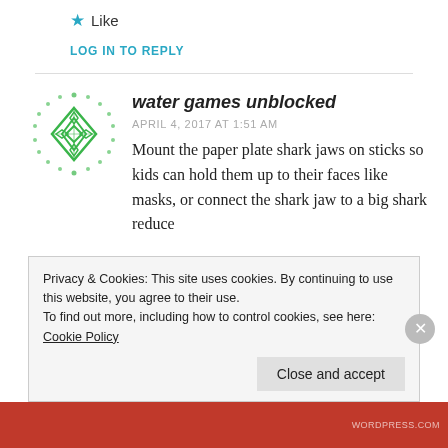★ Like
LOG IN TO REPLY
[Figure (illustration): Green geometric avatar with diamond patterns]
water games unblocked
APRIL 4, 2017 AT 1:51 AM
Mount the paper plate shark jaws on sticks so kids can hold them up to their faces like masks, or connect the shark jaw to a big shark reduce
Privacy & Cookies: This site uses cookies. By continuing to use this website, you agree to their use.
To find out more, including how to control cookies, see here: Cookie Policy
Close and accept